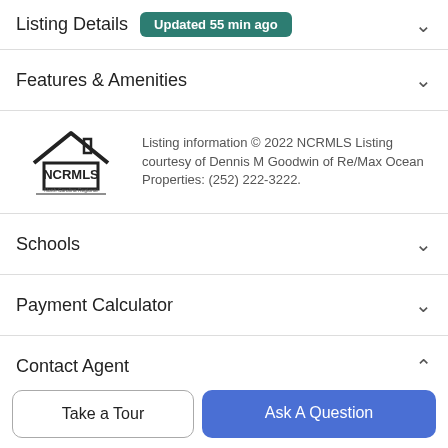Listing Details  Updated 55 min ago
Features & Amenities
Listing information © 2022 NCRMLS Listing courtesy of Dennis M Goodwin of Re/Max Ocean Properties: (252) 222-3222.
Schools
Payment Calculator
Contact Agent
Take a Tour
Ask A Question